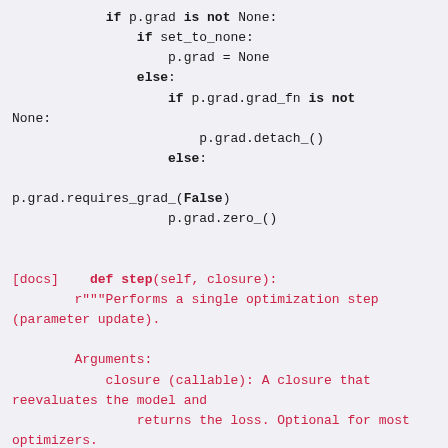Code snippet showing Python optimizer zero_grad and step methods with docstring